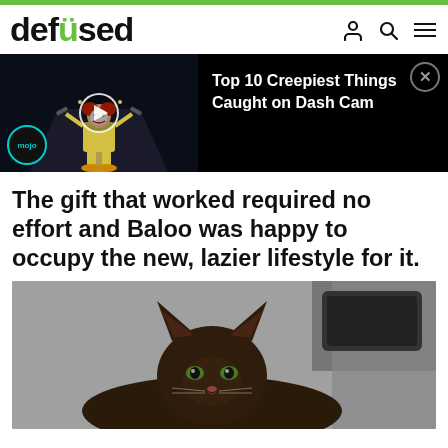[Figure (logo): defused logo with green dot on letter i]
[Figure (screenshot): Video banner showing a clown on a road at night with title 'Top 10 Creepiest Things Caught on Dash Cam' and mojo branding]
The gift that worked required no effort and Baloo was happy to occupy the new, lazier lifestyle for it.
[Figure (photo): Photo of a cat (Baloo) lying down, viewed from above]